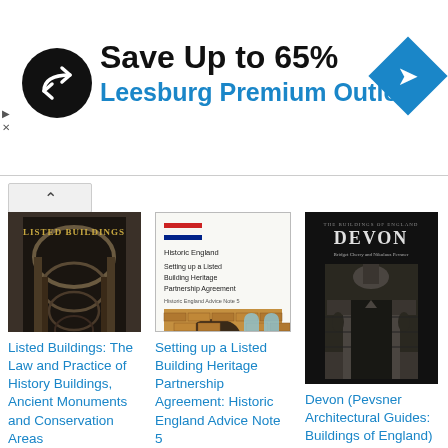[Figure (infographic): Advertisement banner: black circle logo with white infinity/share symbol, headline 'Save Up to 65%', subheadline 'Leesburg Premium Outlets', blue diamond navigation icon on right. Small play and X icons on left side.]
[Figure (photo): Book cover: 'Listed Buildings' showing black and white photo of arched colonnade/corridor]
[Figure (photo): Book cover: 'Setting up a Listed Building Heritage Partnership Agreement' by Historic England, white cover with logo and photo of brick arched building]
[Figure (photo): Book cover: 'Devon (Pevsner Architectural Guides: Buildings of England)' showing black and white photo of ornate building entrance/gateway]
Listed Buildings: The Law and Practice of History Buildings, Ancient Monuments and Conservation Areas
Setting up a Listed Building Heritage Partnership Agreement: Historic England Advice Note 5
Devon (Pevsner Architectural Guides: Buildings of England)